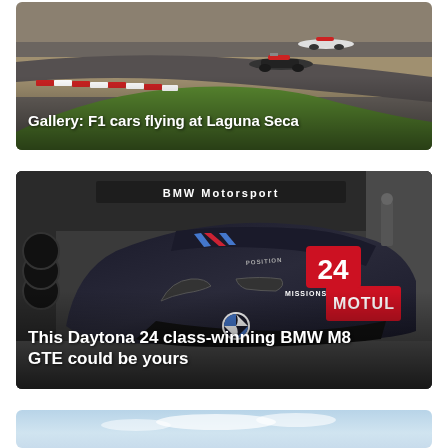[Figure (photo): F1 racing cars on Laguna Seca racetrack with green curbs and red-white kerbing, aerial/trackside view]
Gallery: F1 cars flying at Laguna Seca
[Figure (photo): BMW M8 GTE race car #24 with BMW Motorsport branding, Motul sponsor, in pit garage]
This Daytona 24 class-winning BMW M8 GTE could be yours
[Figure (photo): Partially visible third article image showing sky and water/landscape]